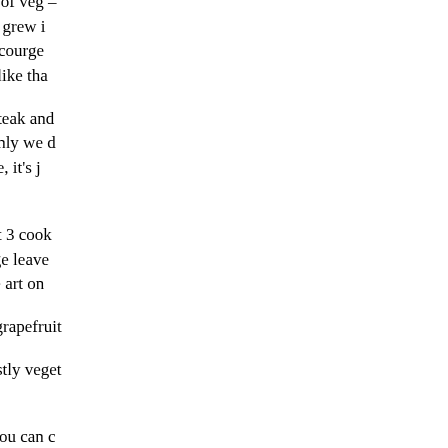Lunch – turkey (free range) and lashings of sweet yellow courgette that my big sister grew in her garden – thanks Sis, way tastier than supermarket courgette! WordPress has put that image up on end like that...
Dinner – MND home made kidney and steak and... MND version of steak and kidney pie...only we do cauliflower as carbs instead of pie casings! Otherwise, it's just kidney, steak, loads of veggies and some herbs.
And if it's warm weather and I don't want 3 cooked meals, I have a salad – when I make salad, I forage leaves and flowers from up the lane, and my salad looks like art on a plate!
During the day, I will eat 1 whole white grapefruit.
THAT, is how you get 17 portions of mostly vegetables a day and enjoy your food.
If you want to know what a 'portion' is, you can download wallcharts here – http://www.nhs.uk/Livewell/5A